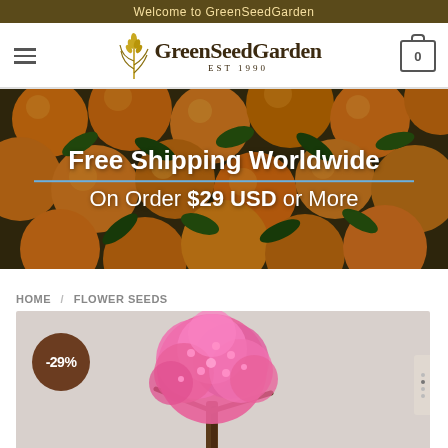Welcome to GreenSeedGarden
[Figure (screenshot): GreenSeedGarden website header with hamburger menu, logo with wheat icon and 'EST 1990', and cart icon showing 0 items]
[Figure (photo): Banner image of orange citrus fruits with green leaves, overlaid with text 'Free Shipping Worldwide / On Order $29 USD or More']
Free Shipping Worldwide
On Order $29 USD or More
HOME / FLOWER SEEDS
[Figure (photo): Product image of a pink flowering plant (appears to be a bonsai-style pink bloom), with a -29% discount badge in dark brown circle at bottom left]